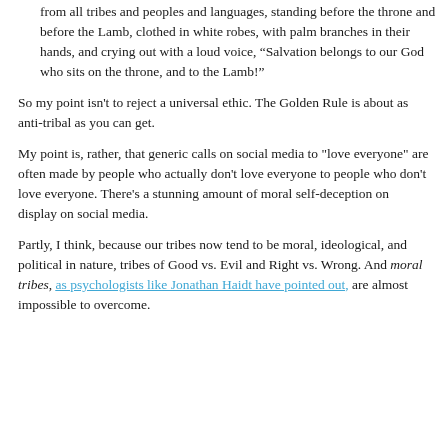from all tribes and peoples and languages, standing before the throne and before the Lamb, clothed in white robes, with palm branches in their hands, and crying out with a loud voice, “Salvation belongs to our God who sits on the throne, and to the Lamb!”
So my point isn't to reject a universal ethic. The Golden Rule is about as anti-tribal as you can get.
My point is, rather, that generic calls on social media to "love everyone" are often made by people who actually don't love everyone to people who don't love everyone. There's a stunning amount of moral self-deception on display on social media.
Partly, I think, because our tribes now tend to be moral, ideological, and political in nature, tribes of Good vs. Evil and Right vs. Wrong. And moral tribes, as psychologists like Jonathan Haidt have pointed out, are almost impossible to overcome.